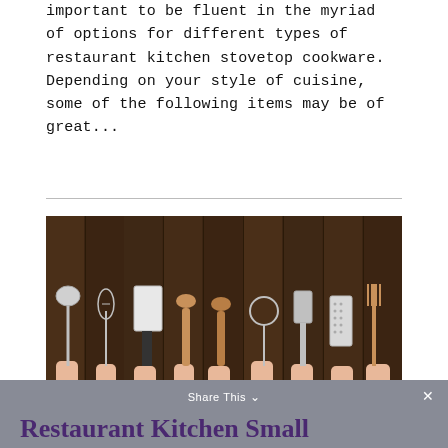important to be fluent in the myriad of options for different types of restaurant kitchen stovetop cookware. Depending on your style of cuisine, some of the following items may be of great...
[Figure (photo): Multiple hands holding various kitchen utensils and tools (ladle, whisk, cleaver, wooden spoons, pizza cutter, spatula, grater, fork) against a dark wooden plank background.]
Share This  Restaurant Kitchen Small